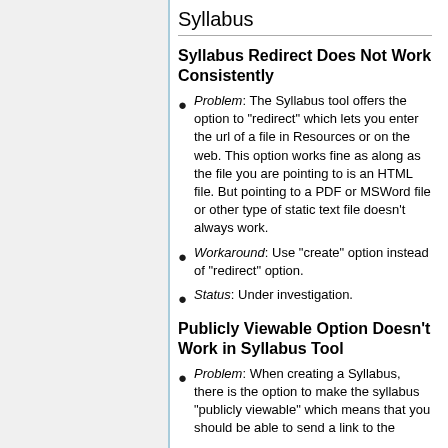Syllabus
Syllabus Redirect Does Not Work Consistently
Problem: The Syllabus tool offers the option to "redirect" which lets you enter the url of a file in Resources or on the web. This option works fine as along as the file you are pointing to is an HTML file. But pointing to a PDF or MSWord file or other type of static text file doesn't always work.
Workaround: Use "create" option instead of "redirect" option.
Status: Under investigation.
Publicly Viewable Option Doesn't Work in Syllabus Tool
Problem: When creating a Syllabus, there is the option to make the syllabus "publicly viewable" which means that you should be able to send a link to the syllabus to anyone and let the LTI...